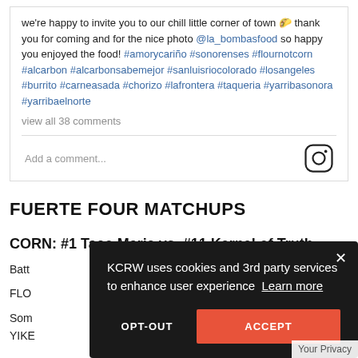we're happy to invite you to our chill little corner of town 🌮 thank you for coming and for the nice photo @la_bombasfood so happy you enjoyed the food! #amorycariño #sonorenses #flournotcorn #alcarbon #alcarbonsabemejor #sanluisriocolorado #losangeles #burrito #carneasada #chorizo #lafrontera #taqueria #yarribasonora #yarribaelnorte
view all 38 comments
Add a comment...
FUERTE FOUR MATCHUPS
CORN: #1 Taco Maria vs. #11 Kernel of Truth
Batt...
FLO...
Som... YIKE...
[Figure (screenshot): Cookie consent modal overlay on dark background. Text: 'KCRW uses cookies and 3rd party services to enhance user experience Learn more'. Two buttons: OPT-OUT (white text on dark) and ACCEPT (white text on orange/red). Close X in top right. 'Your Privacy' text in bottom right corner.]